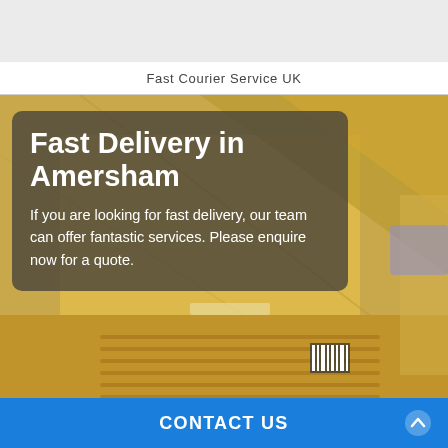Fast Courier Service UK
[Figure (photo): Photo of golden/yellow padded envelope courier packaging, with a semi-transparent dark overlay box containing text about fast delivery in Amersham]
Fast Delivery in Amersham
If you are looking for fast delivery, our team can offer fantastic services. Please enquire now for a quote.
CONTACT US